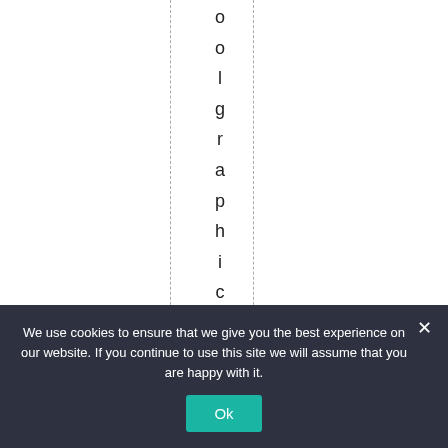oolgraphicscomefro
We use cookies to ensure that we give you the best experience on our website. If you continue to use this site we will assume that you are happy with it.